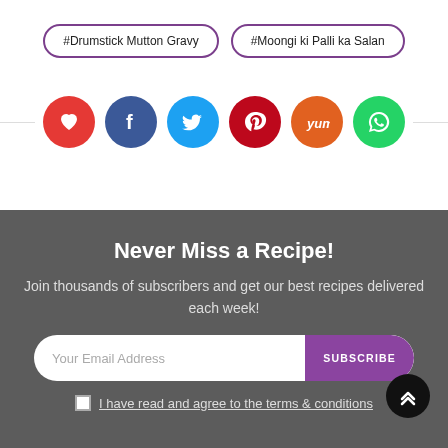#Drumstick Mutton Gravy
#Moongi ki Palli ka Salan
[Figure (infographic): Row of 6 social media icon buttons: heart/like (red), Facebook (dark blue), Twitter (light blue), Pinterest (dark red), Yummly (orange), WhatsApp (green)]
Never Miss a Recipe!
Join thousands of subscribers and get our best recipes delivered each week!
Your Email Address
SUBSCRIBE
I have read and agree to the terms & conditions